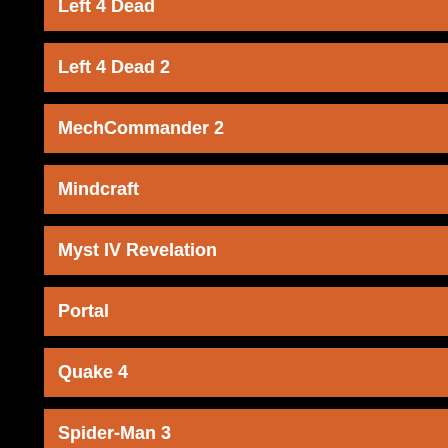Left 4 Dead
Left 4 Dead 2
MechCommander 2
Mindcraft
Myst IV Revelation
Portal
Quake 4
Spider-Man 3
Star Wars Jedi Knight: Jedi Academy
Team Fortress 2
TrackMania
Unreal Tournament 3